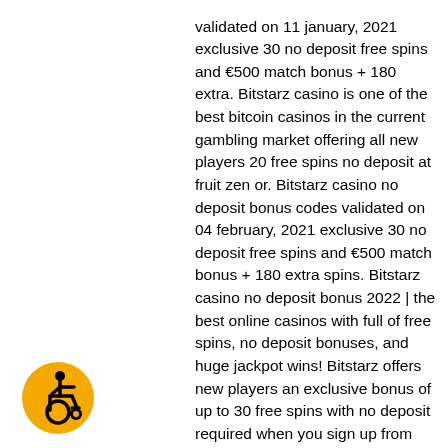validated on 11 january, 2021 exclusive 30 no deposit free spins and €500 match bonus + 180 extra. Bitstarz casino is one of the best bitcoin casinos in the current gambling market offering all new players 20 free spins no deposit at fruit zen or. Bitstarz casino no deposit bonus codes validated on 04 february, 2021 exclusive 30 no deposit free spins and €500 match bonus + 180 extra spins. Bitstarz casino no deposit bonus 2022 | the best online casinos with full of free spins, no deposit bonuses, and huge jackpot wins! Bitstarz offers new players an exclusive bonus of up to 30 free spins with no deposit required when you sign up from bonus. There is no need. Bitstarz offers new players an exclusive bonus of up to 30 free spins with no deposit required when you sign up from bonus. When you sign up with bitstarz, you'll be eligible for a bitstarz casino sign up free spins. No deposit or bonus code
[Figure (illustration): Accessibility icon: yellow circle with a stylized person in a wheelchair symbol in black]